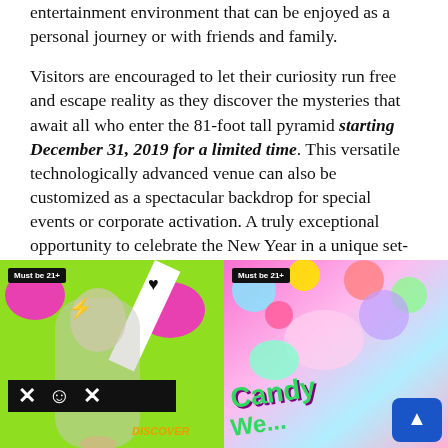entertainment environment that can be enjoyed as a personal journey or with friends and family.
Visitors are encouraged to let their curiosity run free and escape reality as they discover the mysteries that await all who enter the 81-foot tall pyramid starting December 31, 2019 for a limited time. This versatile technologically advanced venue can also be customized as a spectacular backdrop for special events or corporate activation. A truly exceptional opportunity to celebrate the New Year in a unique set-up in Arlington and to discover the pyramid the following weeks before it moves to its next location. Must be 21+.
[Figure (photo): Left promotional image with green and pink background showing a person with black title box reading 'FOOL' and 'DISCOVER' text. Badge reads 'Must be 21+']
[Figure (photo): Right promotional image with colorful candy-themed background reading 'Candy We...' with a blue scroll-up button. Badge reads 'Must be 21+']